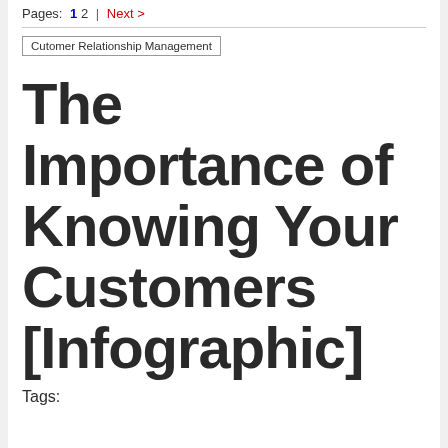Pages: 1 2 | Next >
Cutomer Relationship Management
The Importance of Knowing Your Customers [Infographic]
Tags: